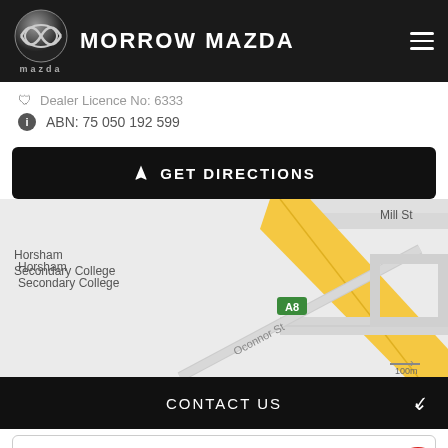[Figure (logo): Mazda logo (chrome wing emblem) with MORROW MAZDA text and hamburger menu icon on dark header]
Dealer Licence No: 6333
ABN: 75 050 192 599
GET DIRECTIONS
[Figure (map): Google Maps view showing Horsham area with Horsham Secondary College, Horsham Silo Art marker, Mill St, Millar St, Oconnor St, and A8 route road]
CONTACT US
FINANCE THIS VEHICLE